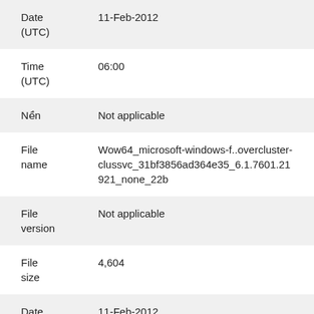| Field | Value |
| --- | --- |
| Date (UTC) | 11-Feb-2012 |
| Time (UTC) | 06:00 |
| Nền | Not applicable |
| File name | Wow64_microsoft-windows-f..overcluster-clussvc_31bf3856ad364e35_6.1.7601.21921_none_22b |
| File version | Not applicable |
| File size | 4,604 |
| Date | 11-Feb-2012 |